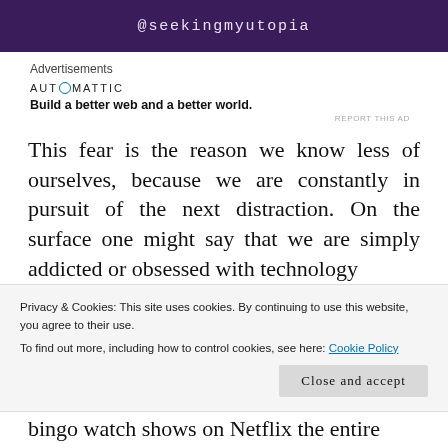[Figure (screenshot): Purple banner with text @seekingmyutopia]
Advertisements
[Figure (logo): Automattic logo with tagline: Build a better web and a better world.]
REPORT THIS AD
This fear is the reason we know less of ourselves, because we are constantly in pursuit of the next distraction. On the surface one might say that we are simply addicted or obsessed with technology
Privacy & Cookies: This site uses cookies. By continuing to use this website, you agree to their use.
To find out more, including how to control cookies, see here: Cookie Policy
bingo watch shows on Netflix the entire weekend